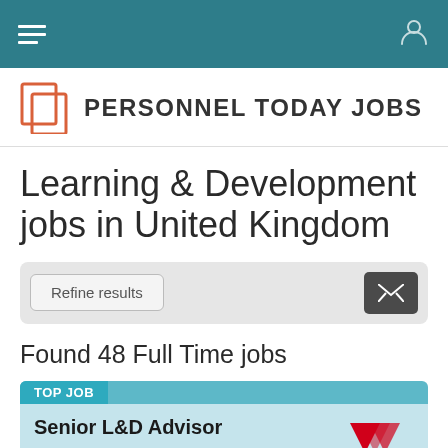Personnel Today Jobs — navigation bar
[Figure (logo): Personnel Today Jobs logo with stylized P icon and text]
Learning & Development jobs in United Kingdom
Refine results | email alert button
Found 48 Full Time jobs
TOP JOB
Senior L&D Advisor
Hybrid Working